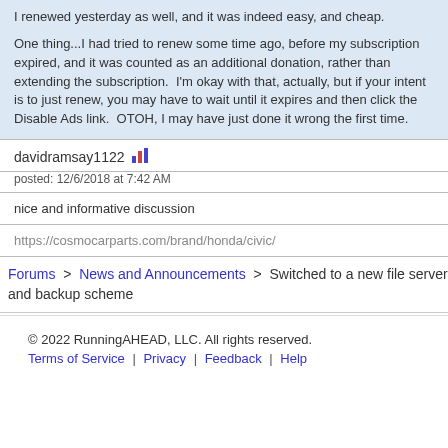I renewed yesterday as well, and it was indeed easy, and cheap.

One thing...I had tried to renew some time ago, before my subscription expired, and it was counted as an additional donation, rather than extending the subscription.  I'm okay with that, actually, but if your intent is to just renew, you may have to wait until it expires and then click the Disable Ads link.  OTOH, I may have just done it wrong the first time.
davidramsay1122  posted: 12/6/2018 at 7:42 AM
nice and informative discussion
https://cosmocarparts.com/brand/honda/civic/
Forums > News and Announcements > Switched to a new file server and backup scheme
© 2022 RunningAHEAD, LLC. All rights reserved. Terms of Service | Privacy | Feedback | Help